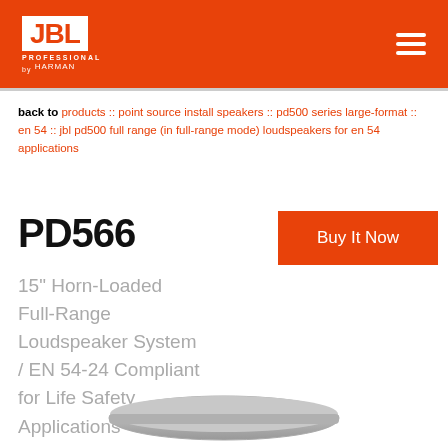[Figure (logo): JBL Professional by Harman logo on orange header bar with hamburger menu icon]
back to products :: point source install speakers :: pd500 series large-format :: en 54 :: jbl pd500 full range (in full-range mode) loudspeakers for en 54 applications
PD566
Buy It Now
15" Horn-Loaded Full-Range Loudspeaker System / EN 54-24 Compliant for Life Safety Applications
[Figure (photo): Partial view of JBL PD566 loudspeaker in silver/grey color at bottom of page]